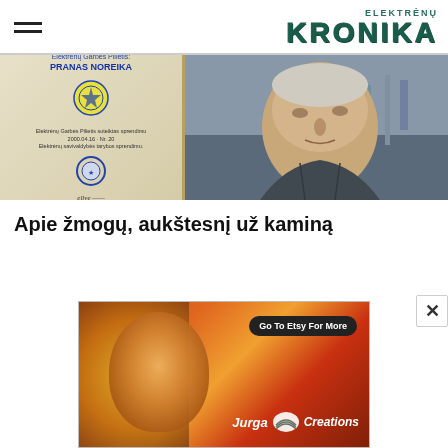ELEKTRĖNŲ KRONIKA
[Figure (photo): Split image: left side shows a certificate/document with blue seals and text 'Elektrėnų Garbės Pilietis: PRANAS NOREIKA'; right side shows a close-up photo of an elderly man outdoors near industrial equipment]
Apie žmogų, aukštesnį už kaminą
[Figure (photo): Advertisement banner for Jurga Creations on Etsy, featuring colorful art with honeycomb patterns, a face, and sun imagery in orange/red tones with button 'Go To Etsy For More' and Jurga Creations branding]